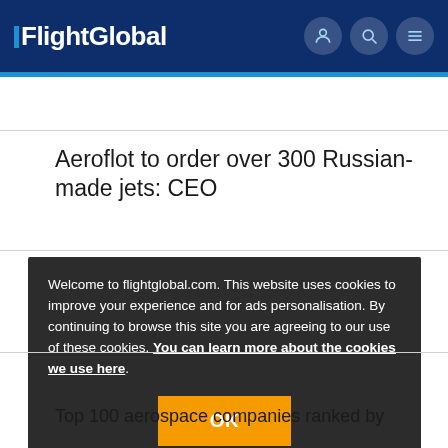FlightGlobal
Aeroflot to order over 300 Russian-made jets: CEO
Welcome to flightglobal.com. This website uses cookies to improve your experience and for ads personalisation. By continuing to browse this site you are agreeing to our use of these cookies. You can learn more about the cookies we use here.
OK
Top 100 aerospace companies ranked by